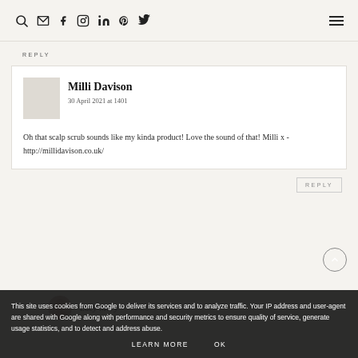Navigation bar with search, email, facebook, instagram, linkedin, pinterest, twitter icons and hamburger menu
REPLY
Milli Davison
30 April 2021 at 1401

Oh that scalp scrub sounds like my kinda product! Love the sound of that! Milli x - http://millidavison.co.uk/
REPLY
This site uses cookies from Google to deliver its services and to analyze traffic. Your IP address and user-agent are shared with Google along with performance and security metrics to ensure quality of service, generate usage statistics, and to detect and address abuse.
LEARN MORE
OK
Lucy Mary